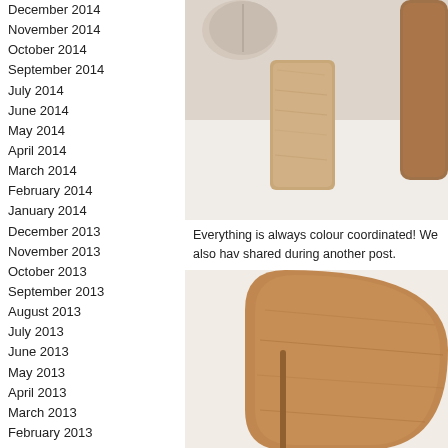December 2014
November 2014
October 2014
September 2014
July 2014
June 2014
May 2014
April 2014
March 2014
February 2014
January 2014
December 2013
November 2013
October 2013
September 2013
August 2013
July 2013
June 2013
May 2013
April 2013
March 2013
February 2013
January 2013
December 2012
November 2012
October 2012
September 2012
August 2012
July 2012
June 2012
May 2012
April 2012
March 2012
February 2012
January 2012
[Figure (photo): Top-down view of wooden boards and fabric items colour coordinated in neutral tones on white background]
Everything is always colour coordinated! We also hav shared during another post.
[Figure (photo): Close-up of wooden rounded objects in warm brown tones on light background]